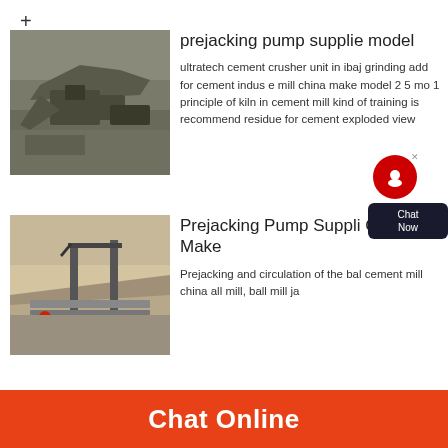+
[Figure (photo): Quarry/mining site with heavy machinery and rock crushing equipment]
prejacking pump supplie model
ultratech cement crusher unit in ibaj grinding add for cement indus e mill china make model 2 5 mo 1 principle of kiln in cement mill kind of training is recommend residue for cement exploded view
[Figure (photo): Industrial conveyor belt structure at a mining or quarry site]
Prejacking Pump Suppli China Make
Prejacking and circulation of the bal cement mill china all mill, ball mill ja
Chat Online